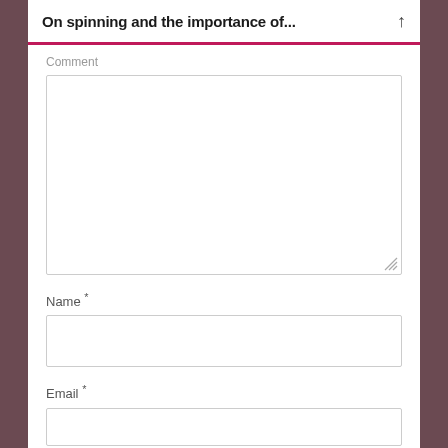On spinning and the importance of...
Comment
[Figure (screenshot): Large empty comment textarea input field with resize handle at bottom right]
Name *
[Figure (screenshot): Single-line name input field, empty]
Email *
[Figure (screenshot): Single-line email input field, empty, partially visible at bottom]